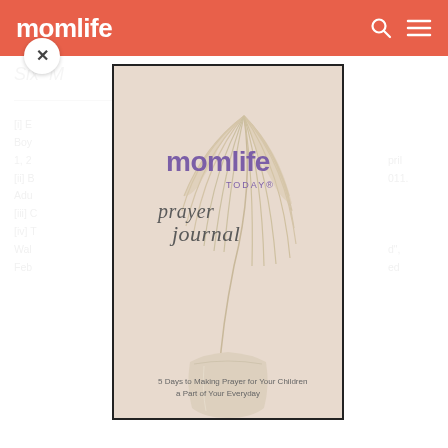momlife
[Figure (photo): MomLife Today Prayer Journal book cover — beige/cream tones with dried palm leaf in a vase, purple 'momlife TODAY' logo, script text 'prayer journal', subtitle '5 Days to Making Prayer for Your Children a Part of Your Everyday']
Six [partial text]
[i] E... Boys... April 1, 2011.
[ii] B... Adu...
[iii] O...
[iv] T... Wall... February...